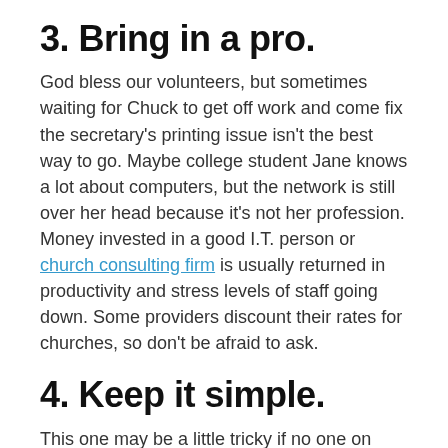3. Bring in a pro.
God bless our volunteers, but sometimes waiting for Chuck to get off work and come fix the secretary's printing issue isn't the best way to go. Maybe college student Jane knows a lot about computers, but the network is still over her head because it's not her profession. Money invested in a good I.T. person or church consulting firm is usually returned in productivity and stress levels of staff going down. Some providers discount their rates for churches, so don't be afraid to ask.
4. Keep it simple.
This one may be a little tricky if no one on staff that has at least a decent level of computer network knowledge. I recently started with a new church client that has a much more complicated network than they need. Their old I.T. firm did not adhere to